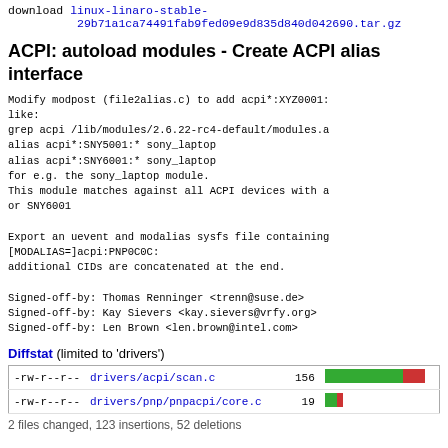download  linux-linaro-stable-29b71a1ca74491fab9fed09e9d835d840d042690.tar.gz
ACPI: autoload modules - Create ACPI alias interface
Modify modpost (file2alias.c) to add acpi*:XYZ0001: like:
grep acpi /lib/modules/2.6.22-rc4-default/modules.a
alias acpi*:SNY5001:* sony_laptop
alias acpi*:SNY6001:* sony_laptop
for e.g. the sony_laptop module.
This module matches against all ACPI devices with a or SNY6001

Export an uevent and modalias sysfs file containing [MODALIAS=]acpi:PNP0C0C:
additional CIDs are concatenated at the end.

Signed-off-by: Thomas Renninger <trenn@suse.de>
Signed-off-by: Kay Sievers <kay.sievers@vrfy.org>
Signed-off-by: Len Brown <len.brown@intel.com>
Diffstat (limited to 'drivers')
| perms | filename | lines | bar |
| --- | --- | --- | --- |
| -rw-r--r-- | drivers/acpi/scan.c | 156 | bar |
| -rw-r--r-- | drivers/pnp/pnpacpi/core.c | 19 | bar |
2 files changed, 123 insertions, 52 deletions